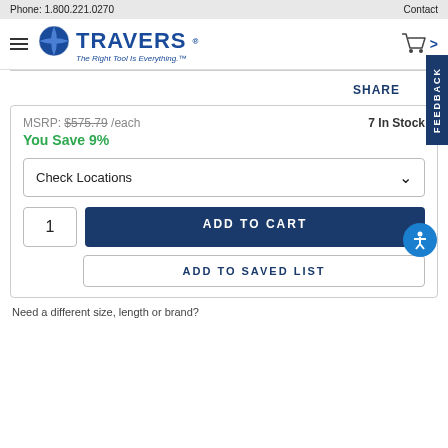Phone: 1.800.221.0270    Contact
[Figure (logo): Travers Tool Co. logo with globe icon and tagline 'The Right Tool Is Everything.']
SHARE
FEEDBACK
MSRP: $575.79 /each    7 In Stock
You Save 9%
Check Locations
1
ADD TO CART
ADD TO SAVED LIST
Need a different size, length or brand?